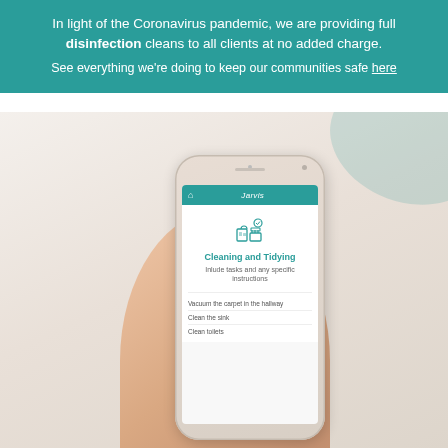In light of the Coronavirus pandemic, we are providing full disinfection cleans to all clients at no added charge.
See everything we're doing to keep our communities safe here
[Figure (screenshot): A hand holding a smartphone displaying the Jarvis app with a 'Cleaning and Tidying' screen, showing an icon, description text 'Include tasks and any specific instructions', and task items: 'Vacuum the carpet in the hallway', 'Clean the sink', 'Clean toilets'. The phone is shown against a warm beige/grey gradient background.]